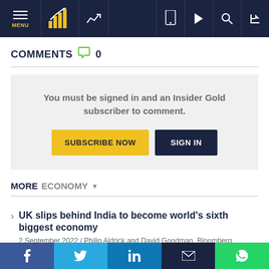MENU navigation bar with logo, chart icon, mobile icon, play icon, search icon, login icon
COMMENTS 0
You must be signed in and an Insider Gold subscriber to comment.
SUBSCRIBE NOW | SIGN IN
MORE ECONOMY
UK slips behind India to become world's sixth biggest economy — 2 September 2022 / Philip Aldrick and David Goodman, Bloomberg
Social share bar: Facebook, Twitter, LinkedIn, Email, WhatsApp